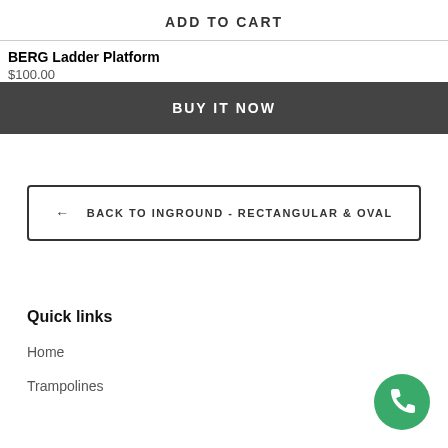ADD TO CART
BERG Ladder Platform
$100.00
BUY IT NOW
← BACK TO INGROUND - RECTANGULAR & OVAL
Quick links
Home
Trampolines